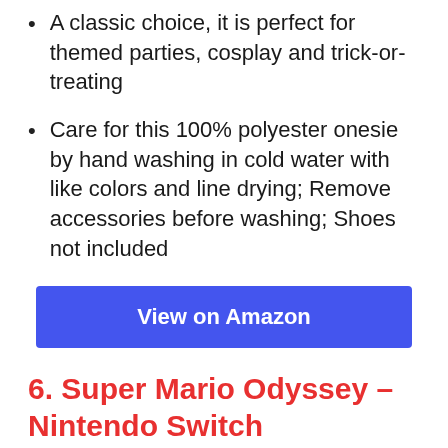A classic choice, it is perfect for themed parties, cosplay and trick-or-treating
Care for this 100% polyester onesie by hand washing in cold water with like colors and line drying; Remove accessories before washing; Shoes not included
View on Amazon
6. Super Mario Odyssey – Nintendo Switch
[Figure (photo): Product image of Super Mario Odyssey Nintendo Switch game case]